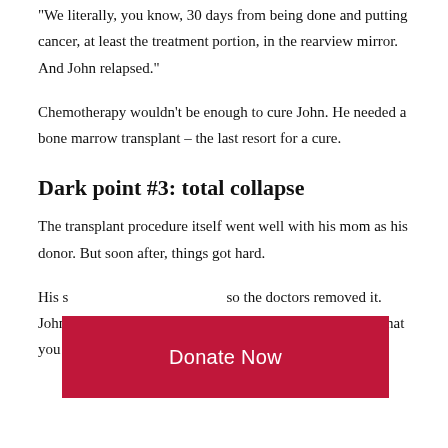"We literally, you know, 30 days from being done and putting cancer, at least the treatment portion, in the rearview mirror. And John relapsed."
Chemotherapy wouldn't be enough to cure John. He needed a bone marrow transplant – the last resort for a cure.
Dark point #3: total collapse
The transplant procedure itself went well with his mom as his donor. But soon after, things got hard.
[Figure (other): Red 'Donate Now' button overlay]
His s[pleen became enlarged]so the doctors removed it. John's newly transplanted cells then engrafted, which is what you want.